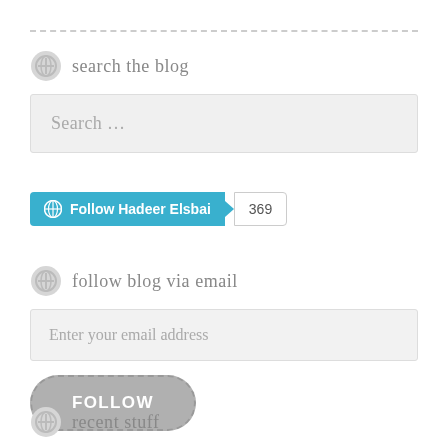search the blog
Search …
[Figure (screenshot): WordPress Follow button for Hadeer Elsbai with follower count 369]
follow blog via email
Enter your email address
FOLLOW
recent stuff